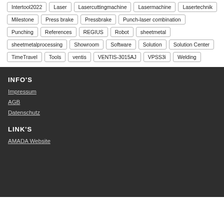Intertool2022
Laser
Lasercuttingmachine
Lasermachine
Lasertechnik
Milestone
Press brake
Pressbrake
Punch-laser combination
Punching
References
REGIUS
Robot
sheetmetal
sheetmetalprocessing
Showroom
Software
Solution
Solution Center
TimeTravel
Tools
ventis
VENTIS-3015AJ
VPSS3i
Welding
INFO'S
Impressum
AGB
Datenschutz
LINK'S
AMADA Website